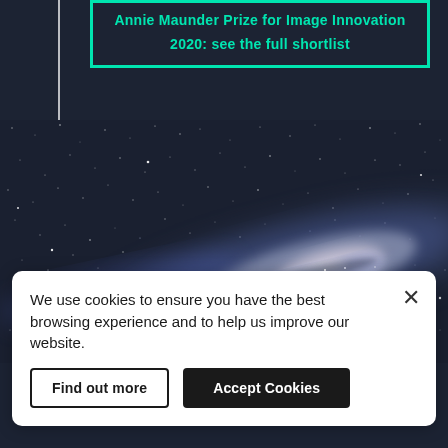Annie Maunder Prize for Image Innovation 2020: see the full shortlist
[Figure (photo): A wide-field astrophotography image of the Milky Way galaxy stretching diagonally across a dark starry night sky, showing the galactic core with bright nebulosity and blue-white star clusters.]
We use cookies to ensure you have the best browsing experience and to help us improve our website.